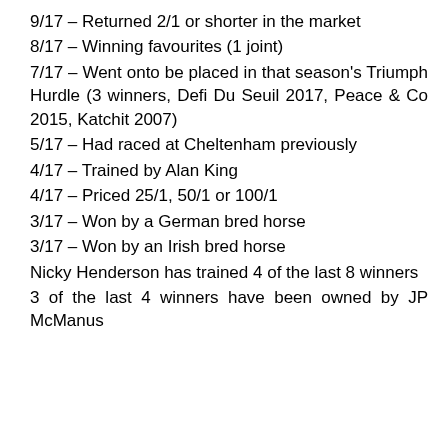9/17 – Returned 2/1 or shorter in the market
8/17 – Winning favourites (1 joint)
7/17 – Went onto be placed in that season's Triumph Hurdle (3 winners, Defi Du Seuil 2017, Peace & Co 2015, Katchit 2007)
5/17 – Had raced at Cheltenham previously
4/17 – Trained by Alan King
4/17 – Priced 25/1, 50/1 or 100/1
3/17 – Won by a German bred horse
3/17 – Won by an Irish bred horse
Nicky Henderson has trained 4 of the last 8 winners
3 of the last 4 winners have been owned by JP McManus